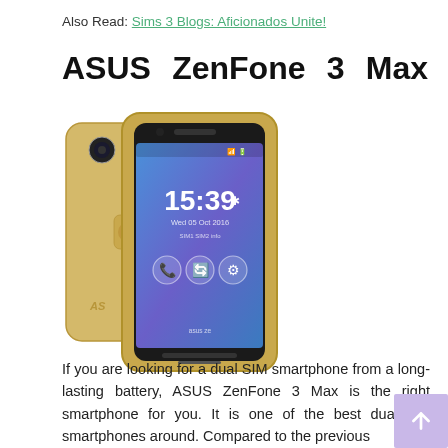Also Read: Sims 3 Blogs: Aficionados Unite!
ASUS ZenFone 3 Max
[Figure (photo): ASUS ZenFone 3 Max smartphone showing front and back, gold color, with blue screen showing time 15:39]
If you are looking for a dual SIM smartphone from a long-lasting battery, ASUS ZenFone 3 Max is the right smartphone for you. It is one of the best dual sim smartphones around. Compared to the previous